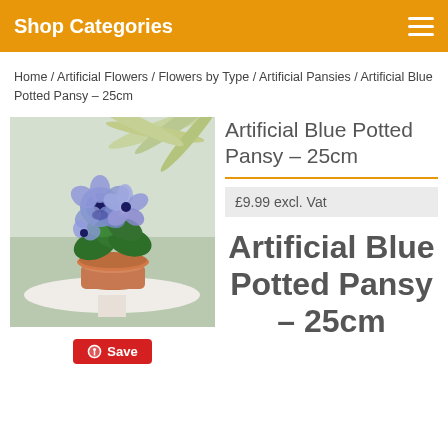Shop Categories
Home / Artificial Flowers / Flowers by Type / Artificial Pansies / Artificial Blue Potted Pansy – 25cm
[Figure (photo): Artificial blue potted pansy plant in a terracotta pot on a white ornate stand, with spider plant in background]
Artificial Blue Potted Pansy – 25cm
£9.99 excl. Vat
Artificial Blue Potted Pansy – 25cm